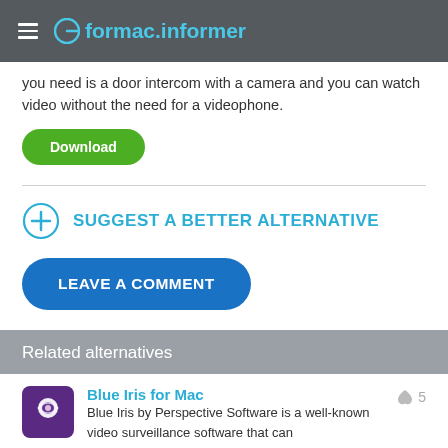formac.informer
you need is a door intercom with a camera and you can watch video without the need for a videophone.
Download
SUGGEST A BETTER ALTERNATIVE
LEAVE A COMMENT
Related alternatives
Blue Iris for Mac
Blue Iris by Perspective Software is a well-known video surveillance software that can